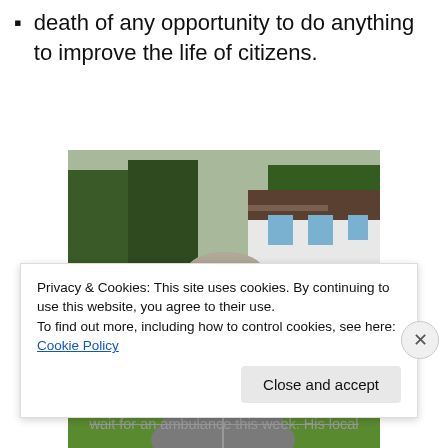death of any opportunity to do anything to improve the life of citizens.
[Figure (photo): Photo of Richard Genest, an older man with short gray hair wearing a gray zip-up hoodie, standing outdoors in front of a white farmhouse with trees and green grass in the background.]
Richard Genest, 65, died following a two-hour wait for an ambulance this week. His local
Privacy & Cookies: This site uses cookies. By continuing to use this website, you agree to their use.
To find out more, including how to control cookies, see here: Cookie Policy